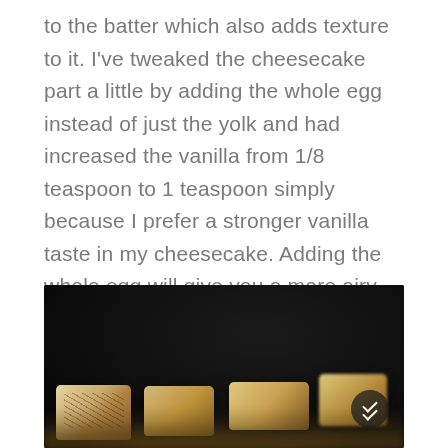to the batter which also adds texture to it. I've tweaked the cheesecake part a little by adding the whole egg instead of just the yolk and had increased the vanilla from 1/8 teaspoon to 1 teaspoon simply because I prefer a stronger vanilla taste in my cheesecake. Adding the whole egg will give you a more airy cheesecake. Just a personal preference.
[Figure (photo): Dark background food photo showing several square cheesecake brownie pieces with marbled chocolate swirls, slightly blurred foreground pieces, on a dark nearly black surface. A circular scroll button with double chevrons is visible at the bottom right corner of the image.]